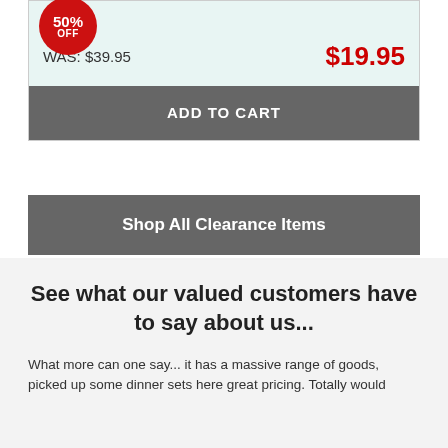[Figure (other): Red circular badge showing 50% OFF discount]
WAS: $39.95
$19.95
ADD TO CART
Shop All Clearance Items
See what our valued customers have to say about us...
What more can one say... it has a massive range of goods, picked up some dinner sets here great pricing. Totally would